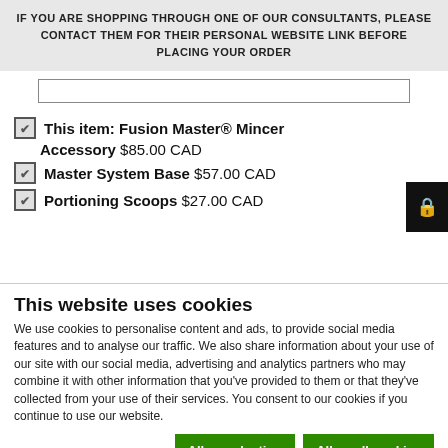IF YOU ARE SHOPPING THROUGH ONE OF OUR CONSULTANTS, PLEASE CONTACT THEM FOR THEIR PERSONAL WEBSITE LINK BEFORE PLACING YOUR ORDER
This item: Fusion Master® Mincer
Accessory  $85.00 CAD
Master System Base  $57.00 CAD
Portioning Scoops  $27.00 CAD
This website uses cookies
We use cookies to personalise content and ads, to provide social media features and to analyse our traffic. We also share information about your use of our site with our social media, advertising and analytics partners who may combine it with other information that you've provided to them or that they've collected from your use of their services. You consent to our cookies if you continue to use our website.
Allow selection  Allow all cookies
Necessary  Preferences  Statistics  Marketing  Show details